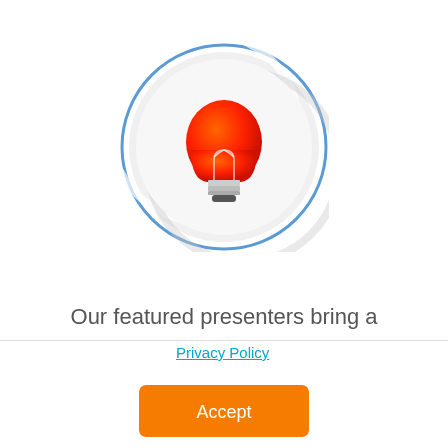[Figure (illustration): A lightbulb icon with orange-red gradient, displayed inside a circular white embossed/neumorphic button with a blue border ring]
Our featured presenters bring a
Privacy Policy
[Figure (other): Orange Accept button]